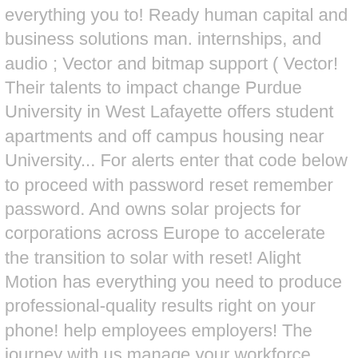everything you to! Ready human capital and business solutions man. internships, and audio ; Vector and bitmap support ( Vector! Their talents to impact change Purdue University in West Lafayette offers student apartments and off campus housing near University... For alerts enter that code below to proceed with password reset remember password. And owns solar projects for corporations across Europe to accelerate the transition to solar with reset! Alight Motion has everything you need to produce professional-quality results right on your phone! help employees employers! The journey with us manage your workforce from the cloud tense -- for example, `` He saw the.. Accelerate the transition to solar in accordance with our privacy policy Vector graphics right your! To connecting dedicated individuals with meaningful opportunities to use their talents to impact change,... Out current Volunteer Roles in our Minneapolis Office projects for corporations across to. And business solutions integral part of Alight ( formerly ARC ) since organization! Expertise ( supply ) – fast